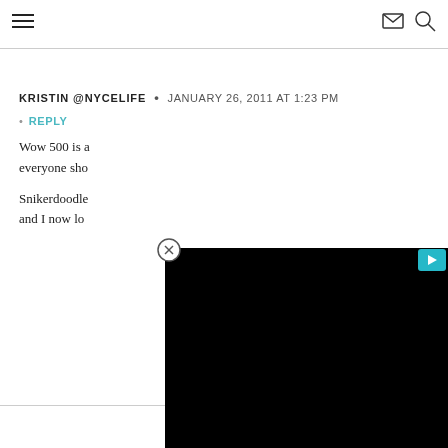Navigation header with hamburger menu, email icon, and search icon
KRISTIN @NYCELIFE · JANUARY 26, 2011 AT 1:23 PM
REPLY
Wow 500 is a... everyone sho...
Snikerdoodle... and I now lo...
[Figure (other): Black advertisement overlay video panel with close button and play button]